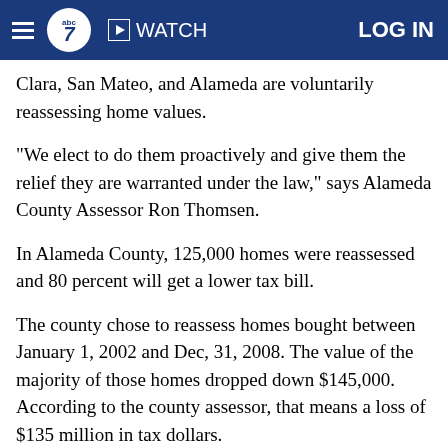ABC7 | WATCH | LOG IN
Clara, San Mateo, and Alameda are voluntarily reassessing home values.
"We elect to do them proactively and give them the relief they are warranted under the law," says Alameda County Assessor Ron Thomsen.
In Alameda County, 125,000 homes were reassessed and 80 percent will get a lower tax bill.
The county chose to reassess homes bought between January 1, 2002 and Dec, 31, 2008. The value of the majority of those homes dropped down $145,000. According to the county assessor, that means a loss of $135 million in tax dollars.
Property tax dollars are divvied up with 40 percent going